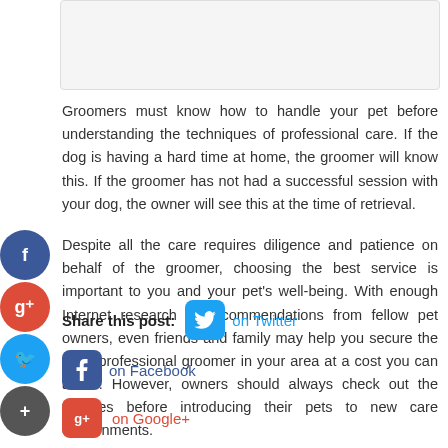[Figure (other): A placeholder image box at the top of the page]
Groomers must know how to handle your pet before understanding the techniques of professional care. If the dog is having a hard time at home, the groomer will know this. If the groomer has not had a successful session with your dog, the owner will see this at the time of retrieval.
Despite all the care requires diligence and patience on behalf of the groomer, choosing the best service is important to you and your pet's well-being. With enough Internet research or recommendations from fellow pet owners, even friends and family may help you secure the most professional groomer in your area at a cost you can afford. However, owners should always check out the facilities before introducing their pets to new care environments.
Share this post: on Twitter on Facebook on Google+